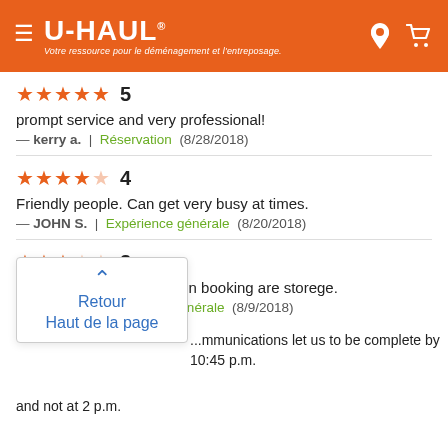[Figure (logo): U-Haul orange header with hamburger menu, U-HAUL logo with registered trademark, italic French tagline 'Votre ressource pour le déménagement et l'entreposage.', and location pin and cart icons on the right]
5 stars — prompt service and very professional! — kerry a. | Réservation (8/28/2018)
4 stars — Friendly people. Can get very busy at times. — JOHN S. | Expérience générale (8/20/2018)
3 stars — Need more organization on booking are storege. — Sara W. | Expérience générale (8/9/2018)
Retour Haut de la page (tooltip/button)
...mmunications let us to be complete by 10:45 p.m. and not at 2 p.m.